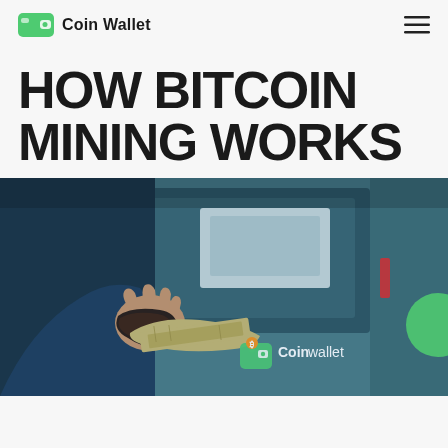Coin Wallet
HOW BITCOIN MINING WORKS
[Figure (photo): A person at a Bitcoin ATM machine holding cash and a wallet, with an ATM/computer equipment visible in the background. The Coin Wallet logo and text overlay appear in the lower right of the image.]